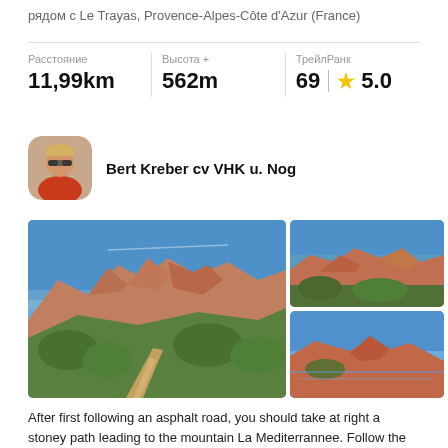рядом с Le Trayas, Provence-Alpes-Côte d'Azur (France)
Расстояние 11,99km | Высота + 562m | ТрейлРанк 69 ★ 5.0
Bert Kreber cv VHK u. Nog
[Figure (photo): Three landscape photos of rocky red mountain (Esterel/Cap Roux area) with Mediterranean scrub vegetation and blue sky. Left large photo shows mountain peaks with dirt path. Top right shows red rock close-up. Bottom right shows red rocks with blue sea.]
After first following an asphalt road, you should take at right a stoney path leading to the mountain La Mediterrannee. Follow the gps track carefully since there us no signage. You are turning left around Pic Cap Roux a...
★★★★★
«Excellente randonnée dans des paysages magnifiques. Pour